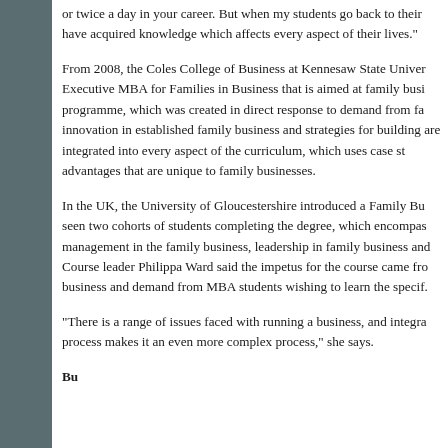or twice a day in your career. But when my students go back to their have acquired knowledge which affects every aspect of their lives."
From 2008, the Coles College of Business at Kennesaw State Univer Executive MBA for Families in Business that is aimed at family busi programme, which was created in direct response to demand from fa innovation in established family business and strategies for building are integrated into every aspect of the curriculum, which uses case st advantages that are unique to family businesses.
In the UK, the University of Gloucestershire introduced a Family Bu seen two cohorts of students completing the degree, which encompas management in the family business, leadership in family business and Course leader Philippa Ward said the impetus for the course came fro business and demand from MBA students wishing to learn the specif.
"There is a range of issues faced with running a business, and integra process makes it an even more complex process," she says.
Bu